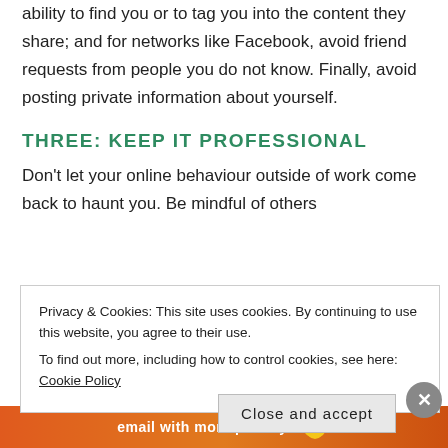ability to find you or to tag you into the content they share; and for networks like Facebook, avoid friend requests from people you do not know. Finally, avoid posting private information about yourself.
THREE: KEEP IT PROFESSIONAL
Don't let your online behaviour outside of work come back to haunt you. Be mindful of others
Privacy & Cookies: This site uses cookies. By continuing to use this website, you agree to their use.
To find out more, including how to control cookies, see here: Cookie Policy
Close and accept
[Figure (infographic): Orange advertisement banner at the bottom with text 'email with more privacy.' and a duck logo icon]